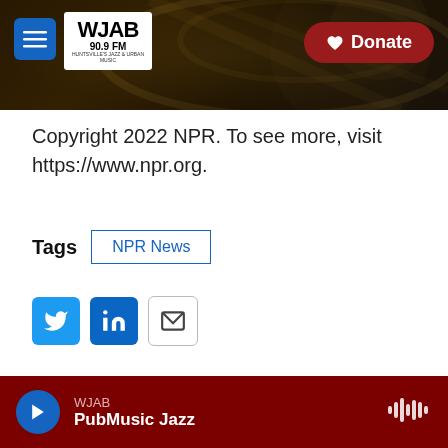[Figure (screenshot): WJAB 90.9 FM radio station website header with logo, hamburger menu button, background of musical instruments, and a red Donate button]
Copyright 2022 NPR. To see more, visit https://www.npr.org.
Tags  NPR News
[Figure (infographic): Social share buttons: Twitter (blue bird icon), LinkedIn (blue in icon), and Email (envelope icon)]
The Associated Press
WJAB  PubMusic Jazz